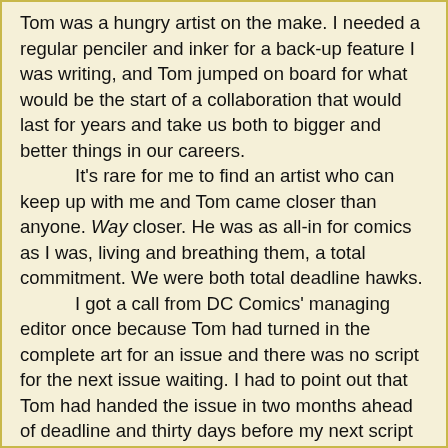Tom was a hungry artist on the make. I needed a regular penciler and inker for a back-up feature I was writing, and Tom jumped on board for what would be the start of a collaboration that would last for years and take us both to bigger and better things in our careers.

It's rare for me to find an artist who can keep up with me and Tom came closer than anyone. Way closer. He was as all-in for comics as I was, living and breathing them, a total commitment. We were both total deadline hawks.

I got a call from DC Comics' managing editor once because Tom had turned in the complete art for an issue and there was no script for the next issue waiting. I had to point out that Tom had handed the issue in two months ahead of deadline and thirty days before my next script was due. I never let him run that close again. In fact, thanks to my experience with Tom, I built longer and longer lead times into my schedule.